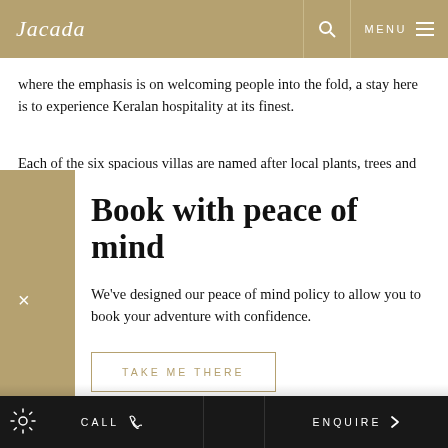Jacada   MENU
where the emphasis is on welcoming people into the fold, a stay here is to experience Keralan hospitality at its finest.
Each of the six spacious villas are named after local plants, trees and
Book with peace of mind
We've designed our peace of mind policy to allow you to book your adventure with confidence.
TAKE ME THERE
hens, duck and geese that call the farm home.
The family residence is set apart from the villas to ensure total
CALL   ENQUIRE